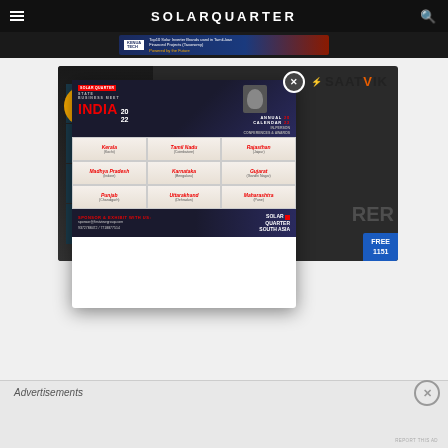SOLARQUARTER
[Figure (screenshot): Website screenshot of SolarQuarter with navigation header, banner ad for KENUA TECH top 10 solar inverter brands, a popup advertisement for Solar Quarter State Business Meet India 2022 showing in-person conferences and awards across Kerala (Kochi), Tamil Nadu (Coimbatore), Rajasthan (Jaipur), Madhya Pradesh (Indore), Karnataka (Bengaluru), Gujarat (Gandhi Nagar), Punjab (Chandigarh), Uttarakhand (Dehradun), Maharashtra (Pune), with Saatvik 545W solar panel background ad]
Advertisements
Advertisements